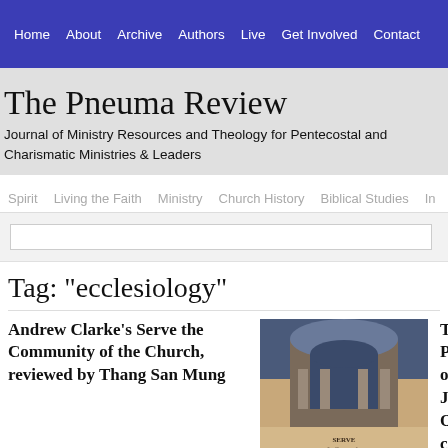Home  About  Archive  Authors  Live  Get Involved  Contact
The Pneuma Review
Journal of Ministry Resources and Theology for Pentecostal and Charismatic Ministries & Leaders
Spirit  Living the Faith  Ministry  Church History  Biblical Studies  In...
Tag: "ecclesiology"
Andrew Clarke's Serve the Community of the Church, reviewed by Thang San Mung
[Figure (photo): Book cover image for Serve the Community of the Church]
The Prayer of Jes... Our call to unity, b... John P. Lathrop
This chapter is from Joh...